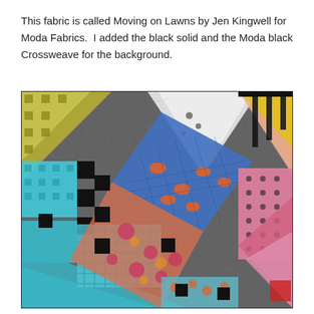This fabric is called Moving on Lawns by Jen Kingwell for Moda Fabrics.  I added the black solid and the Moda black Crossweave for the background.
[Figure (photo): Close-up photograph of a colorful quilt featuring triangular and square patchwork pieces in various fabrics including teal/aqua, pink, grey crossweave, black, yellow stripes, and patterned prints with orange fish and floral motifs. The quilt background is a grey Crossweave fabric with quilted swirl stitching pattern.]